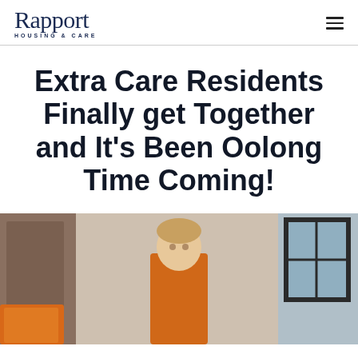Rapport Housing & Care
Extra Care Residents Finally get Together and It's Been Oolong Time Coming!
[Figure (photo): Indoor photo showing a person standing in a corridor or room, wearing an orange top, with a white wall panel to the left and a framed picture/window on the right wall. An orange item is visible in the bottom left.]